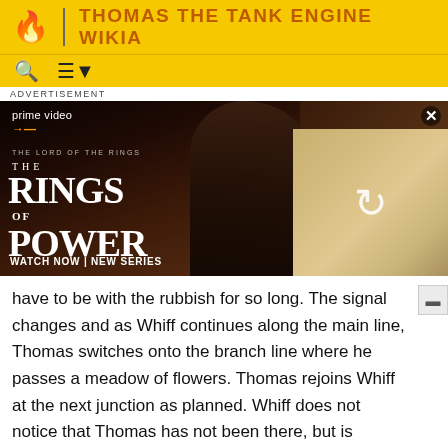THOMAS THE TANK ENGINE WIKIA
[Figure (screenshot): Advertisement banner for Amazon Prime Video 'The Lord of the Rings: The Rings of Power' series, showing a cloaked dark figure on the left and a blonde woman with others on the right. Text reads: prime video, THE LORD OF THE RINGS THE RINGS OF POWER, WATCH NOW | NEW SERIES. Close button X in top right.]
have to be with the rubbish for so long. The signal changes and as Whiff continues along the main line, Thomas switches onto the branch line where he passes a meadow of flowers. Thomas rejoins Whiff at the next junction as planned. Whiff does not notice that Thomas has not been there, but is starting to show fatigue from the train's heavy load. Gordon grandly pulls up next to Thomas and remarks that both he and Whiff are really smelly. Thomas, who is feeling very embarrassed, decides